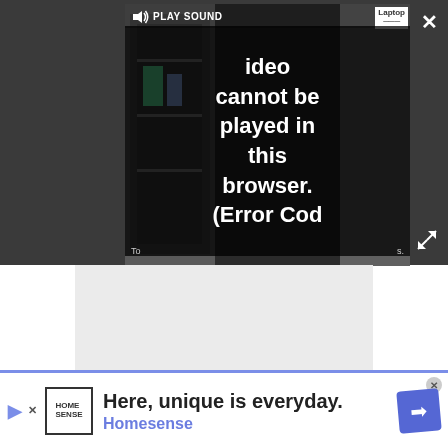[Figure (screenshot): Video player with error overlay showing 'Video cannot be played in this browser. (Error Cod' with play sound control and Laptop badge. Dark gray browser UI surrounds the player with close (X) and expand buttons.]
Advertisement
[Figure (screenshot): Advertisement banner at bottom with HomeSense logo, text 'Here, unique is everyday.' and 'Homesense' in blue, navigation diamond icon on right.]